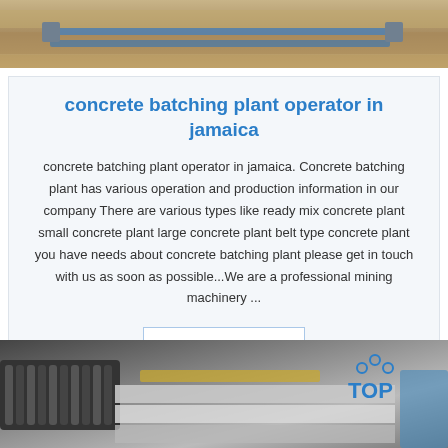[Figure (photo): Top image showing wooden pallets or structural beams with blue metal fittings, industrial setting]
concrete batching plant operator in jamaica
concrete batching plant operator in jamaica. Concrete batching plant has various operation and production information in our company There are various types like ready mix concrete plant small concrete plant large concrete plant belt type concrete plant you have needs about concrete batching plant please get in touch with us as soon as possible...We are a professional mining machinery ...
[Figure (other): Get Price button]
[Figure (photo): Bottom image showing metal rods, aluminum sheets and industrial materials with TOP logo overlay]